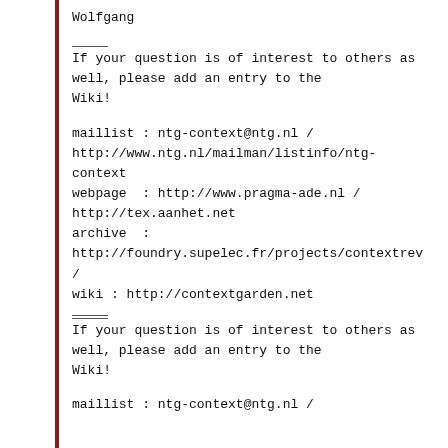Wolfgang
If your question is of interest to others as well, please add an entry to the Wiki!
maillist : ntg-context@ntg.nl /
http://www.ntg.nl/mailman/listinfo/ntg-context
webpage  : http://www.pragma-ade.nl /
http://tex.aanhet.net
archive  :
http://foundry.supelec.fr/projects/contextrev
/
wiki : http://contextgarden.net
If your question is of interest to others as well, please add an entry to the Wiki!
maillist : ntg-context@ntg.nl /